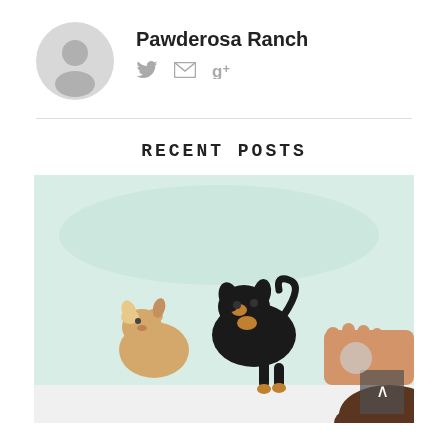[Figure (other): Circular avatar placeholder with a generic person silhouette icon in gray]
Pawderosa Ranch
Social icons: Twitter, Email, Google+
RECENT POSTS
[Figure (photo): Photo of two small dogs (one tan/white chihuahua, one black and tan dog) being held or examined by a person's hand, against a light mint/green background]